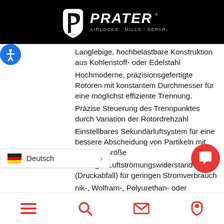[Figure (logo): Prater logo — white PRATER wordmark with stylized P emblem and tagline AIRLOCKS · MILLS · SEPARATORS on black background]
Langlebige, hochbelastbare Konstruktion aus Kohlenstoff- oder Edelstahl
Hochmoderne, präzisionsgefertigte Rotoren mit konstantem Durchmesser für eine möglichst effiziente Trennung.
Präzise Steuerung des Trennpunktes durch Variation der Rotordrehzahl
Einstellbares Sekundärluftsystem für eine bessere Abscheidung von Partikeln mit geringer Größe
Niedriger Luftströmungswiderstand (Druckabfall) für geringen Stromverbrauch
nik-, Wolfram-, Polyurethan- oder Gummiauskleidung für